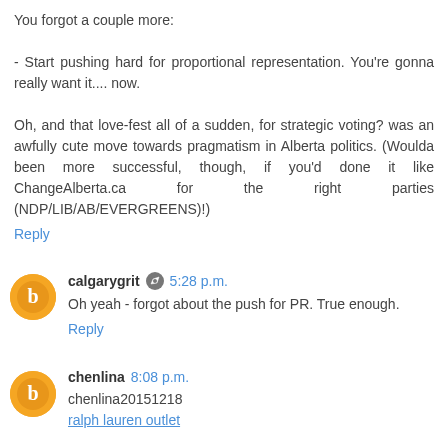You forgot a couple more:

- Start pushing hard for proportional representation. You're gonna really want it.... now.

Oh, and that love-fest all of a sudden, for strategic voting? was an awfully cute move towards pragmatism in Alberta politics. (Woulda been more successful, though, if you'd done it like ChangeAlberta.ca for the right parties (NDP/LIB/AB/EVERGREENS)!)
Reply
calgarygrit  5:28 p.m.
Oh yeah - forgot about the push for PR. True enough.
Reply
chenlina  8:08 p.m.
chenlina20151218
ralph lauren outlet